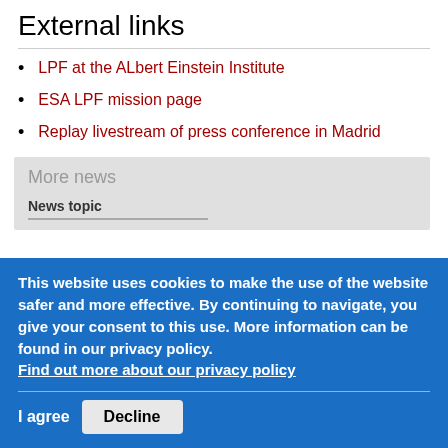External links
LPF at the ALbert Einstein Institute
ESA LPF mission page
Replay livestream of press conference in Madrid
More news
News topic
This website uses cookies to make the use of the website safer and more effective. By continuing to navigate, you give your consent to this use. More information can be found in our privacy policy. Find out more about our privacy policy
I agree
Decline